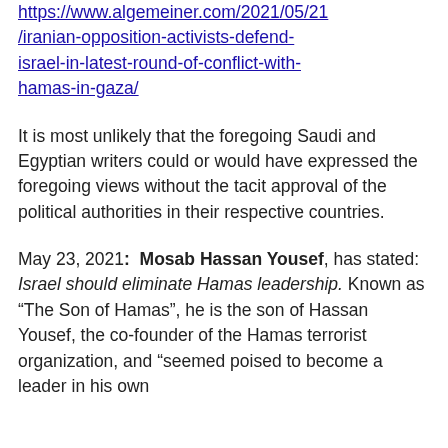https://www.algemeiner.com/2021/05/21/iranian-opposition-activists-defend-israel-in-latest-round-of-conflict-with-hamas-in-gaza/
It is most unlikely that the foregoing Saudi and Egyptian writers could or would have expressed the foregoing views without the tacit approval of the political authorities in their respective countries.
May 23, 2021:  Mosab Hassan Yousef, has stated:  Israel should eliminate Hamas leadership. Known as “The Son of Hamas”, he is the son of Hassan Yousef, the co-founder of the Hamas terrorist organization, and “seemed poised to become a leader in his own